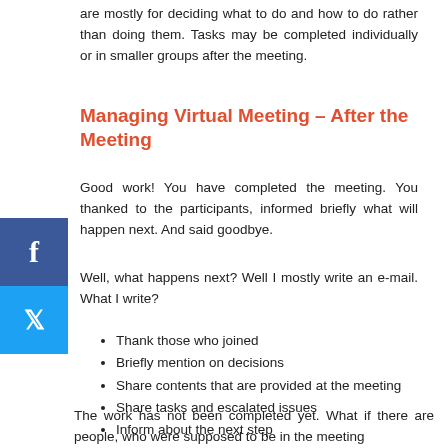are mostly for deciding what to do and how to do rather than doing them. Tasks may be completed individually or in smaller groups after the meeting.
Managing Virtual Meeting – After the Meeting
Good work! You have completed the meeting. You thanked to the participants, informed briefly what will happen next. And said goodbye.
Well, what happens next? Well I mostly write an e-mail. What I write?
Thank those who joined
Briefly mention on decisions
Share contents that are provided at the meeting
Share tasks and escalated issues
Inform about the next step
The work has not been completed yet. What if there are people, who were supposed to be in the meeting